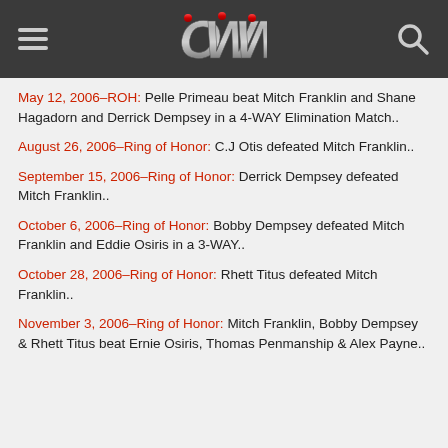OWW
May 12, 2006–ROH: Pelle Primeau beat Mitch Franklin and Shane Hagadorn and Derrick Dempsey in a 4-WAY Elimination Match..
August 26, 2006–Ring of Honor: C.J Otis defeated Mitch Franklin..
September 15, 2006–Ring of Honor: Derrick Dempsey defeated Mitch Franklin..
October 6, 2006–Ring of Honor: Bobby Dempsey defeated Mitch Franklin and Eddie Osiris in a 3-WAY..
October 28, 2006–Ring of Honor: Rhett Titus defeated Mitch Franklin..
November 3, 2006–Ring of Honor: Mitch Franklin, Bobby Dempsey & Rhett Titus beat Ernie Osiris, Thomas Penmanship & Alex Payne..